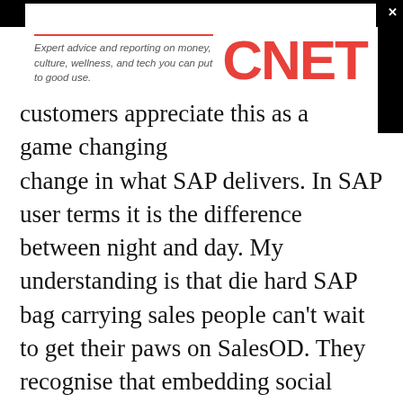[Figure (screenshot): CNET advertisement banner with tagline 'Expert advice and reporting on money, culture, wellness, and tech you can put to good use.' and CNET logo in red.]
custo... change in what SAP delivers. In SAP user terms it is the difference between night and day. My understanding is that die hard SAP bag carrying sales people can't wait to get their paws on SalesOD. They recognise that embedding social aspects into SalesOD rather than have them as an add-on is the real game changer.
Some have made the obvious comparison to Salesforce and Chatter. That would be misguided at anything other than a superficial level. Chatter sits outside Salesforce and has no direct bearing on what a sales person might do. In many senses,